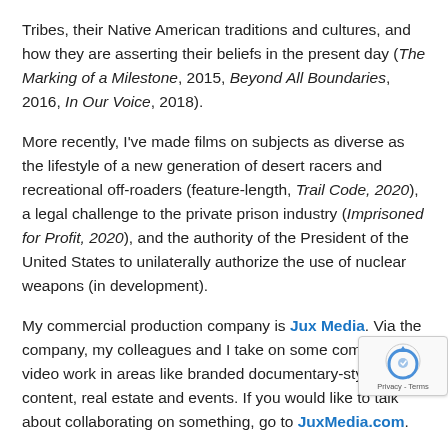Tribes, their Native American traditions and cultures, and how they are asserting their beliefs in the present day (The Marking of a Milestone, 2015, Beyond All Boundaries, 2016, In Our Voice, 2018).
More recently, I've made films on subjects as diverse as the lifestyle of a new generation of desert racers and recreational off-roaders (feature-length, Trail Code, 2020), a legal challenge to the private prison industry (Imprisoned for Profit, 2020), and the authority of the President of the United States to unilaterally authorize the use of nuclear weapons (in development).
My commercial production company is Jux Media. Via the company, my colleagues and I take on some commercial video work in areas like branded documentary-style content, real estate and events. If you would like to talk about collaborating on something, go to JuxMedia.com.
I am a member of the International Documentary...